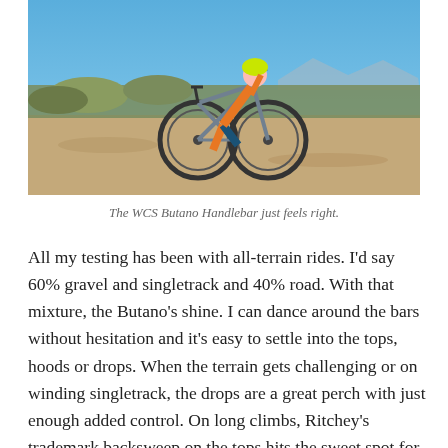[Figure (photo): A cyclist riding a gravel/road bike on a dirt path with scrubby vegetation in the background. The rider wears an orange jersey and is riding a gray/blue bicycle. Mountains and blue sky visible in the distance.]
The WCS Butano Handlebar just feels right.
All my testing has been with all-terrain rides. I'd say 60% gravel and singletrack and 40% road. With that mixture, the Butano's shine. I can dance around the bars without hesitation and it's easy to settle into the tops, hoods or drops. When the terrain gets challenging or on winding singletrack, the drops are a great perch with just enough added control. On long climbs, Ritchey's trademark backsweep on the tops hits the sweet spot for hand